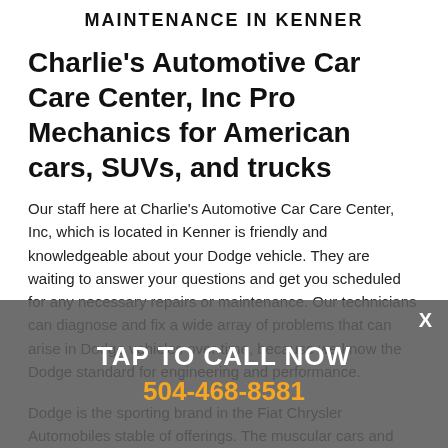MAINTENANCE IN KENNER
Charlie's Automotive Car Care Center, Inc Pro Mechanics for American cars, SUVs, and trucks
Our staff here at Charlie's Automotive Car Care Center, Inc, which is located in Kenner is friendly and knowledgeable about your Dodge vehicle. They are waiting to answer your questions and get you scheduled for any necessary repairs or maintenance. Our technicians can diagnose and fix a wide array of problems that can arise in Dodge vehicles over time, because we know the Dodge standard for engineering and performance.
Dodge is the sporting brand in the Fiat Chrysler Automobiles stable of offerings. The muscular cars and trucks are sharply designed and are icons of American designed torque and power
TAP TO CALL NOW
504-468-8581